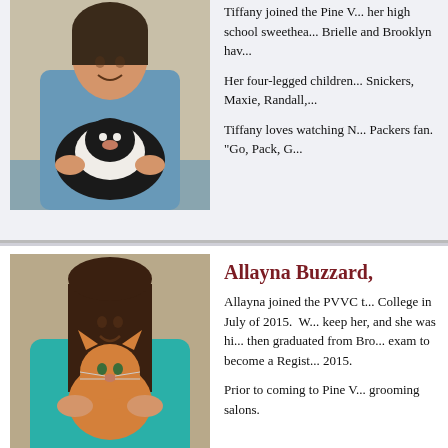[Figure (photo): Staff member in blue scrubs holding a black and white dog]
Tiffany joined the Pine V... her high school sweethea... Brielle and Brooklyn hav...

Her four-legged children... Snickers, Maxie, Randall,...

Tiffany loves watching N... Packers fan. "Go, Pack, G...
[Figure (photo): Staff member in teal top holding an orange cat]
Allayna Buzzard,
Allayna joined the PVVC t... College in July of 2015. W... keep her, and she was hi... then graduated from Bro... exam to become a Regist... 2015.

Prior to coming to Pine V... grooming salons.